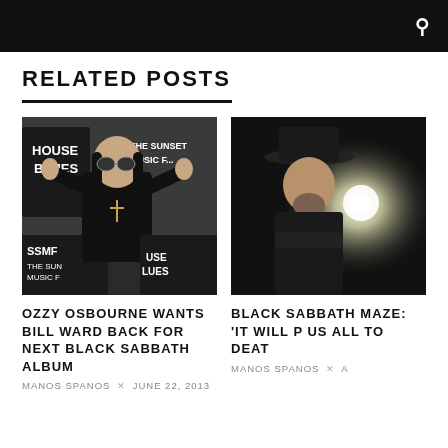RELATED POSTS
[Figure (photo): Photo of Ozzy Osbourne at House of Blues / Sunset Music Festival event, wearing black outfit, round sunglasses, cross necklace, raising both hands]
OZZY OSBOURNE WANTS BILL WARD BACK FOR NEXT BLACK SABBATH ALBUM
MANOS SPANOS × JUNE 22, 2013
[Figure (photo): Photo of a man in black hat and black jacket with a bright light flare in background]
BLACK SABBATH MAZE: 'IT WILL P US ALL TO DEAT
MANOS SPANOS × A